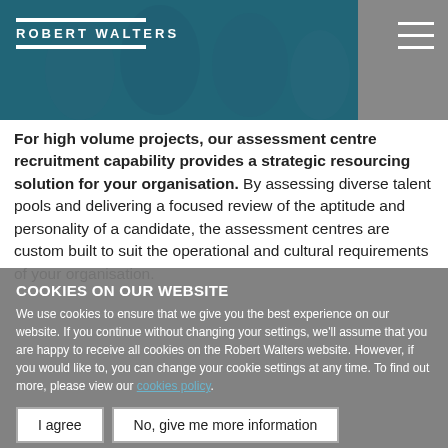[Figure (screenshot): Robert Walters website header with logo and hero image of people in a meeting, teal/blue toned photo with hamburger menu icon top right]
For high volume projects, our assessment centre recruitment capability provides a strategic resourcing solution for your organisation. By assessing diverse talent pools and delivering a focused review of the aptitude and personality of a candidate, the assessment centres are custom built to suit the operational and cultural requirements of your organisation.
COOKIES ON OUR WEBSITE
We use cookies to ensure that we give you the best experience on our website. If you continue without changing your settings, we'll assume that you are happy to receive all cookies on the Robert Walters website. However, if you would like to, you can change your cookie settings at any time. To find out more, please view our cookies policy.